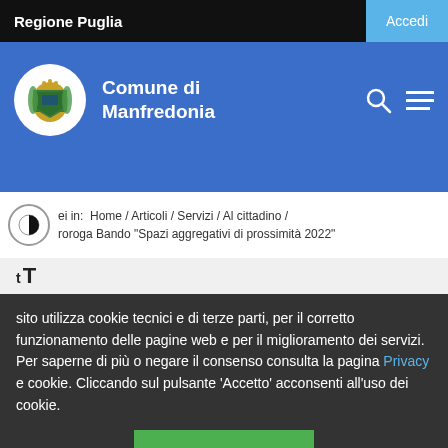Regione Puglia
Comune di Manfredonia
ei in: Home / Articoli / Servizi / Al cittadino / roroga Bando "Spazi aggregativi di prossimità 2022"
sito utilizza cookie tecnici e di terze parti, per il corretto funzionamento delle pagine web e per il miglioramento dei servizi. Per saperne di più o negare il consenso consulta la pagina Privacy e cookie. Cliccando sul pulsante 'Accetto' acconsenti all'uso dei cookie.
ACCETTO